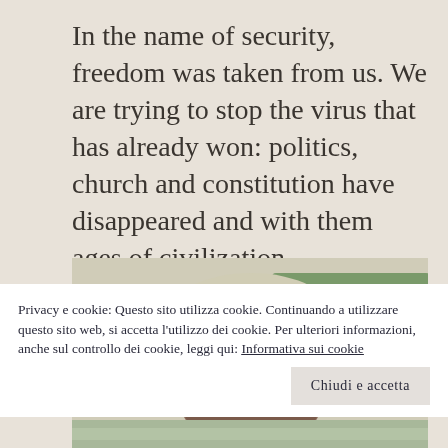In the name of security, freedom was taken from us. We are trying to stop the virus that has already won: politics, church and constitution have disappeared and with them ages of civilization.
[Figure (photo): Close-up photograph of a person wearing a wide-brimmed hat, face partially obscured by the hat brim, with green foliage visible in the background.]
Privacy e cookie: Questo sito utilizza cookie. Continuando a utilizzare questo sito web, si accetta l'utilizzo dei cookie. Per ulteriori informazioni, anche sul controllo dei cookie, leggi qui: Informativa sui cookie
[Figure (photo): Partial bottom photo visible at the bottom of the page.]